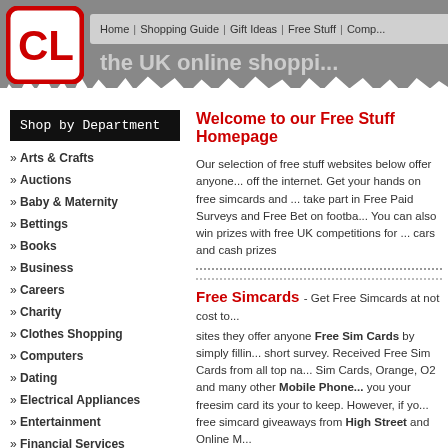[Figure (logo): CL logo — red block letters on white with red rounded rectangle border]
Home | Shopping Guide | Gift Ideas | Free Stuff | Comp...
the UK online shoppi...
Shop by Department
Arts & Crafts
Auctions
Baby & Maternity
Bettings
Books
Business
Careers
Charity
Clothes Shopping
Computers
Dating
Electrical Appliances
Entertainment
Financial Services
Food & Drink
Welcome to our Free Stuff Homepage
Our selection of free stuff websites below offer anyone... off the internet. Get your hands on free simcards and ... take part in Free Paid Surveys and Free Bet on footba... You can also win prizes with free UK competitions for ... cars and cash prizes
Free Simcards
- Get Free Simcards at not cost to... sites they offer anyone Free Sim Cards by simply fillin... short survey. Received Free Sim Cards from all top na... Sim Cards, Orange, O2 and many other Mobile Phone... you your freesim card its your to keep. However, if yo... free simcard giveaways from High Street and Online M...